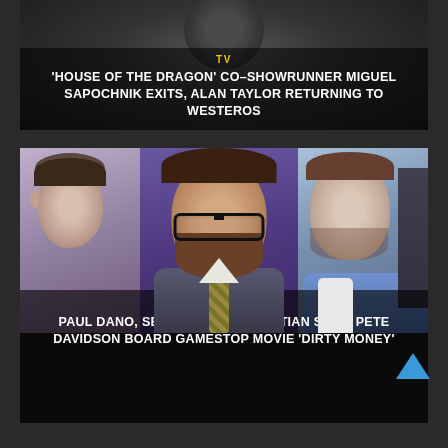[Figure (photo): Top card: dark background with person in background, overlaid with TV category label and headline about House of the Dragon co-showrunner]
TV
'HOUSE OF THE DRAGON' CO-SHOWRUNNER MIGUEL SAPOCHNIK EXITS, ALAN TAYLOR RETURNING TO WESTEROS
[Figure (photo): Bottom card: photo collage of Paul Dano, Seth Rogen, and Sebastian Stan overlaid with MOVIES category label and headline about Dirty Money GameStop movie]
MOVIES
PAUL DANO, SETH ROGEN, SEBASTIAN STAN, PETE DAVIDSON BOARD GAMESTOP MOVIE 'DIRTY MONEY'